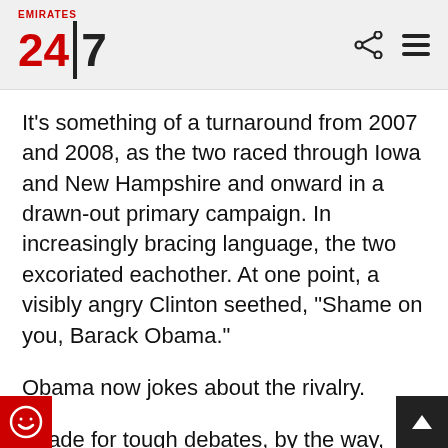Emirates 24|7
It's something of a turnaround from 2007 and 2008, as the two raced through Iowa and New Hampshire and onward in a drawn-out primary campaign. In increasingly bracing language, the two excoriated eachother. At one point, a visibly angry Clinton seethed, "Shame on you, Barack Obama."
Obama now jokes about the rivalry.
"Made for tough debates, by the way, because we could never figure out what we were different on," the president said.